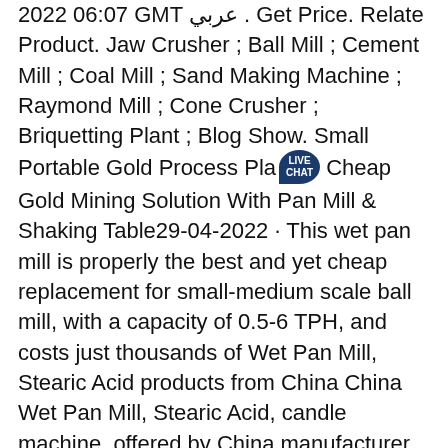2022 06:07 GMT عربي . Get Price. Relate Product. Jaw Crusher ; Ball Mill ; Cement Mill ; Coal Mill ; Sand Making Machine ; Raymond Mill ; Cone Crusher ; Briquetting Plant ; Blog Show. Small Portable Gold Process Pla[LIVE CHAT] Cheap Gold Mining Solution With Pan Mill & Shaking Table29-04-2022 · This wet pan mill is properly the best and yet cheap replacement for small-medium scale ball mill, with a capacity of 0.5-6 TPH, and costs just thousands of Wet Pan Mill, Stearic Acid products from China China Wet Pan Mill, Stearic Acid, candle machine, offered by China manufacturer & supplier -Chemact (Liaoning) Petrochemicals Ltd., page2 China Gold Grinding Machinery, Wet Pan Mill Origin. Qingzhou Shandong, China. Product Description. Gold Grinding Machinery, Wet Pan Mill Made in Keda. 1. Brief Introduction. Our grinding machine is mainly used for separation of gold, silver, lead, zinc, molybdenum, iron, copper, antimony, tungsten, tin and other minerals selected. With less investment, fast results, small